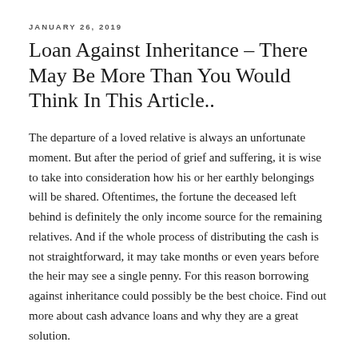JANUARY 26, 2019
Loan Against Inheritance – There May Be More Than You Would Think In This Article..
The departure of a loved relative is always an unfortunate moment. But after the period of grief and suffering, it is wise to take into consideration how his or her earthly belongings will be shared. Oftentimes, the fortune the deceased left behind is definitely the only income source for the remaining relatives. And if the whole process of distributing the cash is not straightforward, it may take months or even years before the heir may see a single penny. For this reason borrowing against inheritance could possibly be the best choice. Find out more about cash advance loans and why they are a great solution.
A prolonged probate process is regarded as the